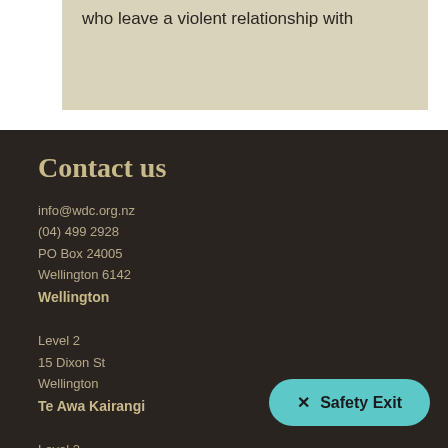who leave a violent relationship with
Contact us
info@wdc.org.nz
(04) 499 2928
PO Box 24005
Wellington 6142
Wellington
Level 2
15 Dixon St
Wellington
Te Awa Kairangi
Level 2
✕ Safety Exit